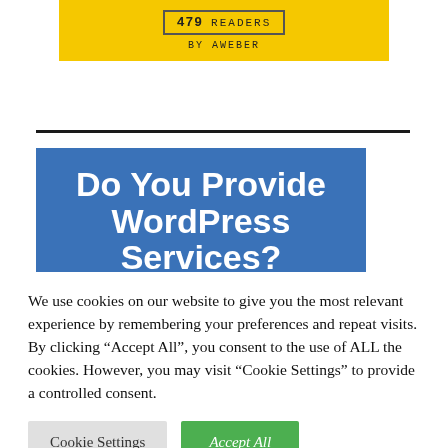[Figure (other): AWeber subscription widget showing '479 READERS BY AWEBER' on a yellow background with a bordered counter box]
[Figure (other): Blue banner advertisement for WordPress services reading 'Do You Provide WordPress Services? Train Your Clients On' with more text cut off at bottom]
We use cookies on our website to give you the most relevant experience by remembering your preferences and repeat visits. By clicking “Accept All”, you consent to the use of ALL the cookies. However, you may visit "Cookie Settings" to provide a controlled consent.
Cookie Settings
Accept All